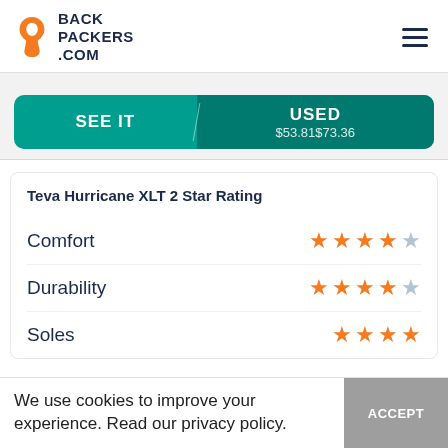BACKPACKERS.COM
[Figure (screenshot): SEE IT / USED $53.81$73.36 teal button row]
Teva Hurricane XLT 2 Star Rating
Comfort — 4 out of 5 stars
Durability — 4 out of 5 stars
Soles — partially visible, 4+ stars
We use cookies to improve your experience. Read our privacy policy.